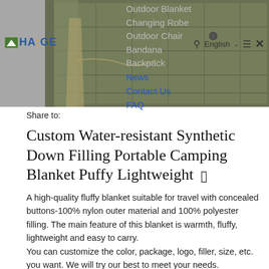[Figure (photo): Olive green puffy camping blanket product photo shown at top of page, with navigation menu overlay]
HAIGE logo with navigation menu overlay showing: Outdoor Blanket, Changing Robe, Outdoor Chair, Bandana, Backpack, News, Contact Us, FAQ. Search icon, English language selector, hamburger menu, close X on right side.
Share to:
Custom Water-resistant Synthetic Down Filling Portable Camping Blanket Puffy Lightweight 🔖
A high-quality fluffy blanket suitable for travel with concealed buttons-100% nylon outer material and 100% polyester filling. The main feature of this blanket is warmth, fluffy, lightweight and easy to carry.
You can customize the color, package, logo, filler, size, etc. you want. We will try our best to meet your needs.